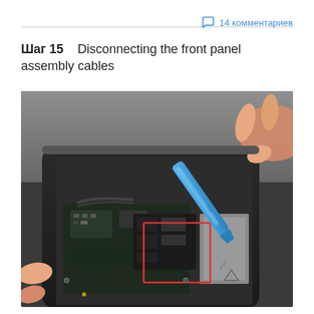14 комментариев
Шаг 15   Disconnecting the front panel assembly cables
[Figure (photo): Close-up photo of iPhone internal components being worked on with a blue plastic spudger tool. A red rectangle highlights the connector area where the front panel assembly cables are being disconnected. Fingers are visible holding the device and tool.]